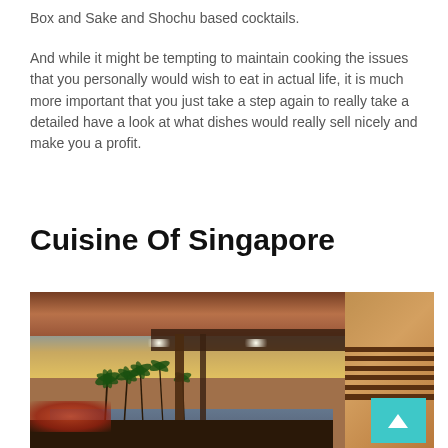Box and Sake and Shochu based cocktails.
And while it might be tempting to maintain cooking the issues that you personally would wish to eat in actual life, it is much more important that you just take a step again to really take a detailed have a look at what dishes would really sell nicely and make you a profit.
Cuisine Of Singapore
[Figure (photo): Interior restaurant/bar with warm wooden ceiling, open view to tropical ocean scenery with palm trees at sunset, dining tables in foreground, right side showing wooden slat architecture details, teal scroll-to-top button overlay in lower right]